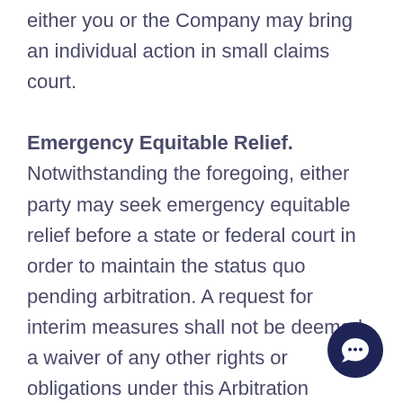either you or the Company may bring an individual action in small claims court. Emergency Equitable Relief.  Notwithstanding the foregoing, either party may seek emergency equitable relief before a state or federal court in order to maintain the status quo pending arbitration.  A request for interim measures shall not be deemed a waiver of any other rights or obligations under this Arbitration Agreement. Claims Not Subject to Arbitration.  Notwithstanding the foregoing, claims of defamation, violation of the Computer Fraud and Abuse Act, and infringement or misappropriation of the other party’s patent, copyright, trademark or trade secrets shall not b... subject to arbitration.